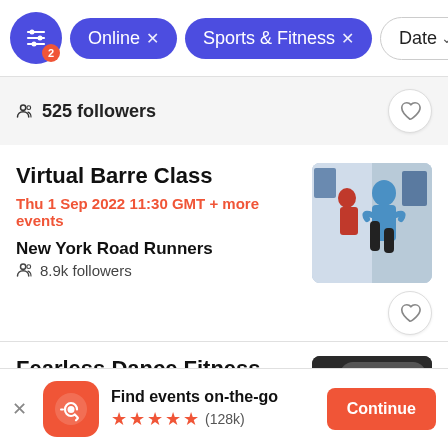Online x  Sports & Fitness x  Date
525 followers
Virtual Barre Class
Thu 1 Sep 2022 11:30 GMT + more events
New York Road Runners
8.9k followers
[Figure (photo): Person in blue shirt doing exercise/barre pose in a studio]
Fearless Dance Fitness and
[Figure (photo): Dark image of dance fitness event with Sold Out badge]
Find events on-the-go ★★★★★ (128k)
Continue